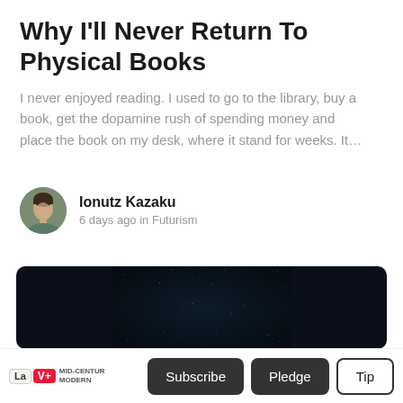Why I'll Never Return To Physical Books
I never enjoyed reading. I used to go to the library, buy a book, get the dopamine rush of spending money and place the book on my desk, where it stand for weeks. It…
Ionutz Kazaku
6 days ago in Futurism
[Figure (photo): Dark night sky photo with faint stars scattered across a deep blue-black background]
La V+ MID-CENTUR MODERN   Subscribe   Pledge   Tip